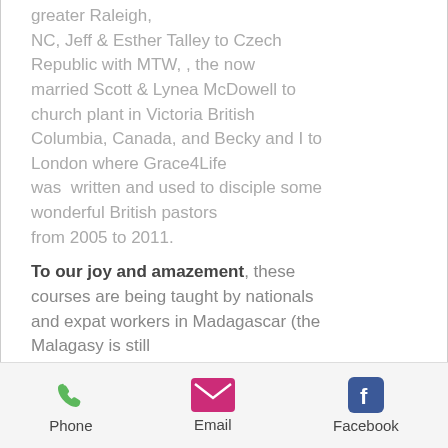greater Raleigh, NC, Jeff & Esther Talley to Czech Republic with MTW, , the now married Scott & Lynea McDowell to church plant in Victoria British Columbia, Canada, and Becky and I to London where Grace4Life was written and used to disciple some wonderful British pastors from 2005 to 2011.
To our joy and amazement, these courses are being taught by nationals and expat workers in Madagascar (the Malagasy is still in the translation process), Niger, Burkina Faso, Burundi, Democratic Republic of Congo, Ethiopia, Zambia, Algeria, New Zealand and the USA--these we know about.
Phone | Email | Facebook